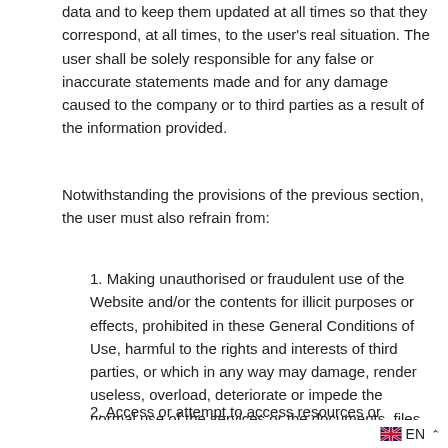data and to keep them updated at all times so that they correspond, at all times, to the user's real situation. The user shall be solely responsible for any false or inaccurate statements made and for any damage caused to the company or to third parties as a result of the information provided.
Notwithstanding the provisions of the previous section, the user must also refrain from:
1. Making unauthorised or fraudulent use of the Website and/or the contents for illicit purposes or effects, prohibited in these General Conditions of Use, harmful to the rights and interests of third parties, or which in any way may damage, render useless, overload, deteriorate or impede the normal use of the services or the documents, files and all kinds of contents stored in any computer equipment.
2. Access or attempt to access resources or restricted areas of the Webspace, without complying with t
EN